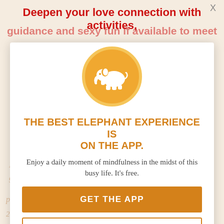Deepen your love connection with activities, guidance and sexy fun if available to meet your intimacy goals. Start Here
[Figure (logo): White elephant silhouette on orange/gold circle, representing the Elephant app logo]
THE BEST ELEPHANT EXPERIENCE IS ON THE APP.
Enjoy a daily moment of mindfulness in the midst of this busy life. It's free.
GET THE APP
OPEN IN APP